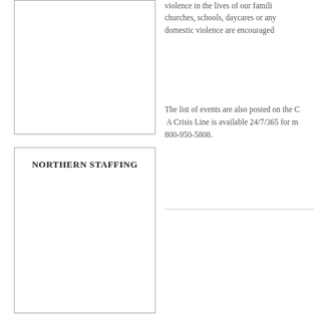violence in the lives of our families, churches, schools, daycares or any domestic violence are encouraged
The list of events are also posted on the C A Crisis Line is available 24/7/365 for m 800-950-5808.
NORTHERN STAFFING